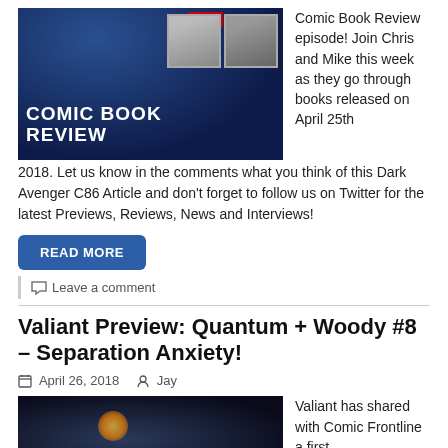[Figure (photo): Comic Book Review banner image with two hosts' photos and DC Comic Frontline badge]
Comic Book Review episode! Join Chris and Mike this week as they go through books released on April 25th 2018. Let us know in the comments what you think of this Dark Avenger C86 Article and don't forget to follow us on Twitter for the latest Previews, Reviews, News and Interviews!
READ MORE
Leave a comment
Valiant Preview: Quantum + Woody #8 – Separation Anxiety!
April 26, 2018   Jay
[Figure (photo): Dark comic book scene image for Quantum + Woody #8]
Valiant has shared with Comic Frontline a first